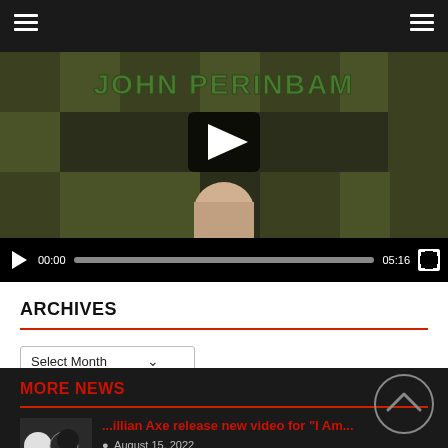[Figure (screenshot): Video player showing 'JOHN PERINBAM' title with play button overlay, video controls bar showing 00:00 timestamp and 05:16 duration]
ARCHIVES
Select Month (dropdown)
MORE NEWS
Lillian Axe release new video for "I Am..." — August 15, 2022